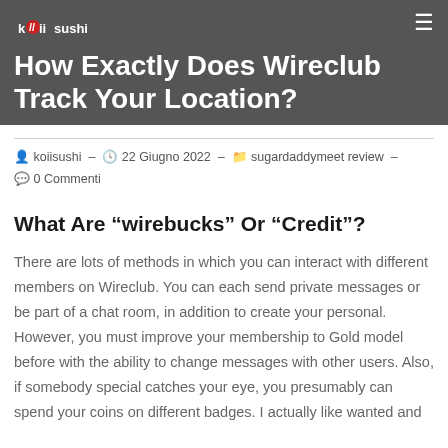How Exactly Does Wireclub Track Your Location?
koiisushi  -  22 Giugno 2022  -  sugardaddymeet review  -  0 Commenti
What Are “wirebucks” Or “Credit”?
There are lots of methods in which you can interact with different members on Wireclub. You can each send private messages or be part of a chat room, in addition to create your personal. However, you must improve your membership to Gold model before with the ability to change messages with other users. Also, if somebody special catches your eye, you presumably can spend your coins on different badges. I actually like wanted and